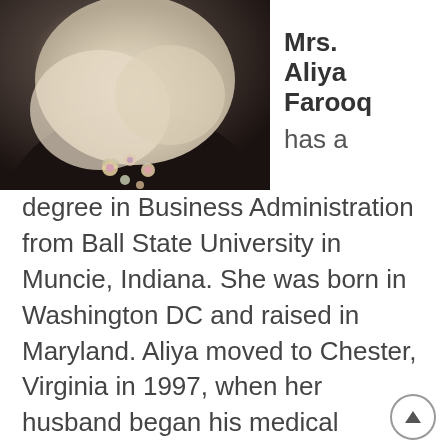[Figure (photo): Close-up photo of a woman wearing a floral embroidered dark garment and a light beige/cream hijab/scarf, with a blurred background.]
Mrs. Aliya Farooq
has a degree in Business Administration from Ball State University in Muncie, Indiana. She was born in Washington DC and raised in Maryland. Aliya moved to Chester, Virginia in 1997, when her husband began his medical practice in Hopewell. She served on the Board of Directors at Iqra Academy of Virginia from 2000 to 2015, in the positions of secretary, vice-chair, chair and consultant. Since then, Aliya has been an active member of several local interfaith organizations such as Richmond Interfaith Climate Justice League and Salaam Shalom. With Richmond Interfaith Climate Justice, she was able to assist in three educational programs regarding urgent climate change issues, held